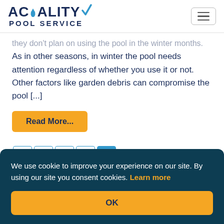[Figure (logo): Acquality Pool Service logo with water drop in letter O and blue checkmark]
they don't plan on using the pool in the winter months. As in other seasons, in winter the pool needs attention regardless of whether you use it or not. Other factors like garden debris can compromise the pool [...]
Read More...
We use cookie to improve your experience on our site. By using our site you consent cookies. Learn more
OK